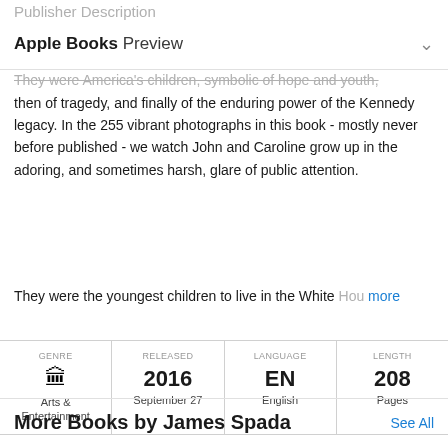Publisher Description
Apple Books Preview
They were America's children, symbolic of hope and youth, then of tragedy, and finally of the enduring power of the Kennedy legacy. In the 255 vibrant photographs in this book - mostly never before published - we watch John and Caroline grow up in the adoring, and sometimes harsh, glare of public attention.

They were the youngest children to live in the White Hou more
| GENRE | RELEASED | LANGUAGE | LENGTH |
| --- | --- | --- | --- |
| Arts & Entertainment | 2016
September 27 | EN
English | 208
Pages |
More Books by James Spada